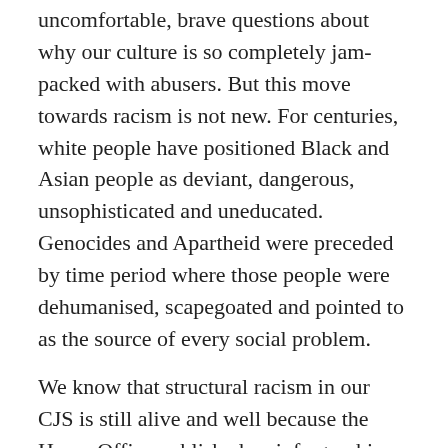uncomfortable, brave questions about why our culture is so completely jam-packed with abusers. But this move towards racism is not new. For centuries, white people have positioned Black and Asian people as deviant, dangerous, unsophisticated and uneducated. Genocides and Apartheid were preceded by time period where those people were dehumanised, scapegoated and pointed to as the source of every social problem.
We know that structural racism in our CJS is still alive and well because the Home Office published an info graphic two years ago which showed:
If you are Black or Asian, you are up to three times more likely to be arrested for a violent offence
If you are Black or Asian, you are 7 times more likely to be stopped and searched